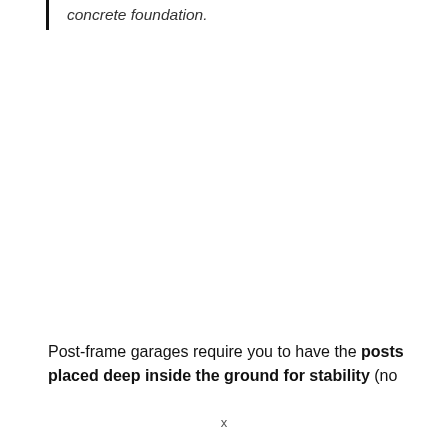Note: This method does not require to have poured concrete foundation.
Post-frame garages require you to have the posts placed deep inside the ground for stability (no
x